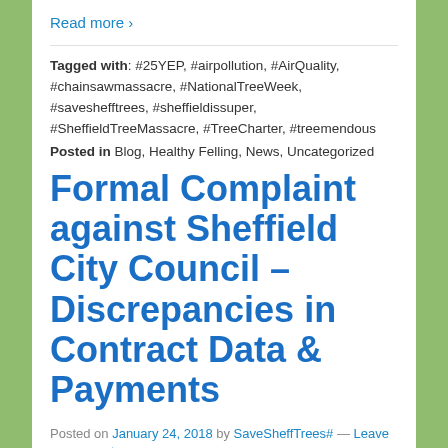Read more ›
Tagged with: #25YEP, #airpollution, #AirQuality, #chainsawmassacre, #NationalTreeWeek, #saveshefftrees, #sheffieldissuper, #SheffieldTreeMassacre, #TreeCharter, #treemendous
Posted in Blog, Healthy Felling, News, Uncategorized
Formal Complaint against Sheffield City Council – Discrepancies in Contract Data & Payments
Posted on January 24, 2018 by SaveSheffTrees# — Leave a comment